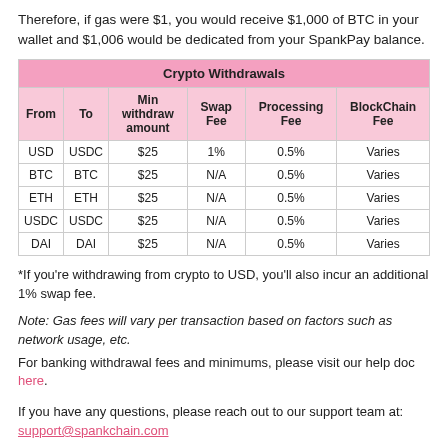Therefore, if gas were $1, you would receive $1,000 of BTC in your wallet and $1,006 would be dedicated from your SpankPay balance.
| From | To | Min withdraw amount | Swap Fee | Processing Fee | BlockChain Fee |
| --- | --- | --- | --- | --- | --- |
| USD | USDC | $25 | 1% | 0.5% | Varies |
| BTC | BTC | $25 | N/A | 0.5% | Varies |
| ETH | ETH | $25 | N/A | 0.5% | Varies |
| USDC | USDC | $25 | N/A | 0.5% | Varies |
| DAI | DAI | $25 | N/A | 0.5% | Varies |
*If you're withdrawing from crypto to USD, you'll also incur an additional 1% swap fee.
Note: Gas fees will vary per transaction based on factors such as network usage, etc.
For banking withdrawal fees and minimums, please visit our help doc here.
If you have any questions, please reach out to our support team at: support@spankchain.com